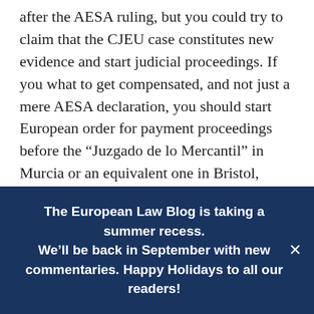after the AESA ruling, but you could try to claim that the CJEU case constitutes new evidence and start judicial proceedings. If you what to get compensated, and not just a mere AESA declaration, you should start European order for payment proceedings before the “Juzgado de lo Mercantil” in Murcia or an equivalent one in Bristol, asking for comensation for breach of Regulation 261/2004. As for Spain, no lawyer is needed, you just need to fill a formulaire that can be found at the Annex of Regulation 1896/2006 (http://eur-lex.europa.eu/LexUriServ/LexUriServ.do?
The European Law Blog is taking a summer recess. We’ll be back in September with new commentaries. Happy Holidays to all our readers!